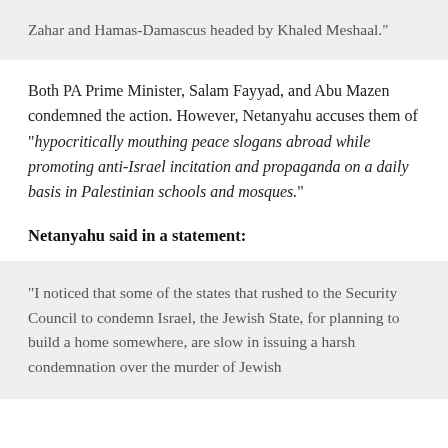Zahar and Hamas-Damascus headed by Khaled Meshaal."
Both PA Prime Minister, Salam Fayyad, and Abu Mazen condemned the action. However, Netanyahu accuses them of “hypocritically mouthing peace slogans abroad while promoting anti-Israel incitation and propaganda on a daily basis in Palestinian schools and mosques.”
Netanyahu said in a statement:
“I noticed that some of the states that rushed to the Security Council to condemn Israel, the Jewish State, for planning to build a home somewhere, are slow in issuing a harsh condemnation over the murder of Jewish